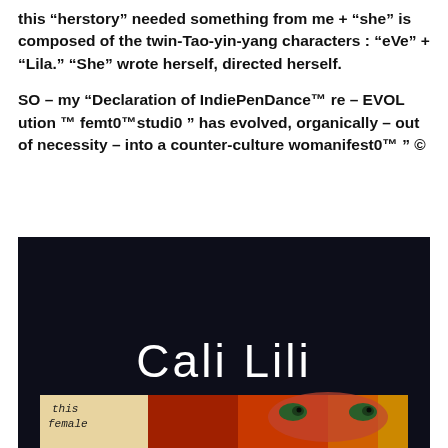this “herstory” needed something from me + “she” is composed of the twin-Tao-yin-yang characters : “eVe” + “Lila.” “She” wrote herself, directed herself.
SO – my “Declaration of IndiePenDance™ re – EVOL ution ™ femt0™studi0 ” has evolved, organically – out of necessity – into a counter-culture womanifest0™ ” ©
[Figure (illustration): Dark navy background image with 'Cali Lili' written in white text. Below that is a smaller inset image showing a face with red/orange hair and dramatic eyes, with handwritten-style text reading 'this female' on a light background.]